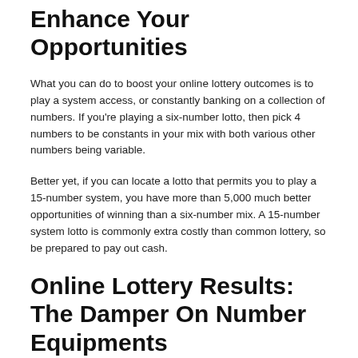Enhance Your Opportunities
What you can do to boost your online lottery outcomes is to play a system access, or constantly banking on a collection of numbers. If you're playing a six-number lotto, then pick 4 numbers to be constants in your mix with both various other numbers being variable.
Better yet, if you can locate a lotto that permits you to play a 15-number system, you have more than 5,000 much better opportunities of winning than a six-number mix. A 15-number system lotto is commonly extra costly than common lottery, so be prepared to pay out cash.
Online Lottery Results: The Damper On Number Equipments
The only drawback to number systems is that they are costly, although you can always share wagering expenses